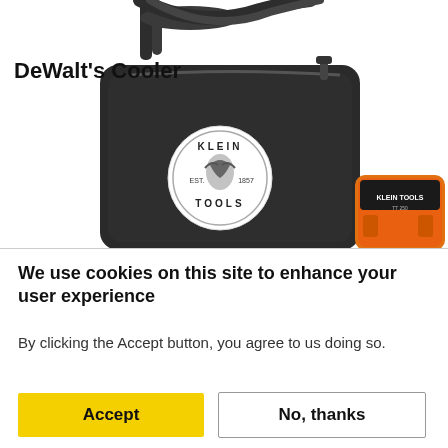[Figure (photo): Product photo showing a Klein Tools black zipper bag with Klein Tools EST. 1857 logo badge, and an orange Klein Tools TT 250 electrical tester device partially visible in front of the bag]
DeWalt's Cooler
We use cookies on this site to enhance your user experience
By clicking the Accept button, you agree to us doing so.
Accept
No, thanks